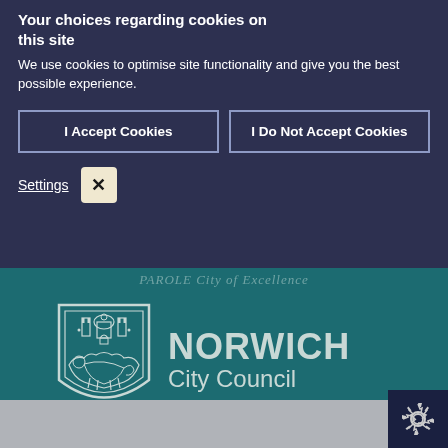Your choices regarding cookies on this site
We use cookies to optimise site functionality and give you the best possible experience.
I Accept Cookies
I Do Not Accept Cookies
Settings
[Figure (logo): Norwich City Council logo with shield emblem showing castle and lion, text reads NORWICH City Council]
[Figure (other): Cookie settings gear/cog icon badge in dark navy corner]